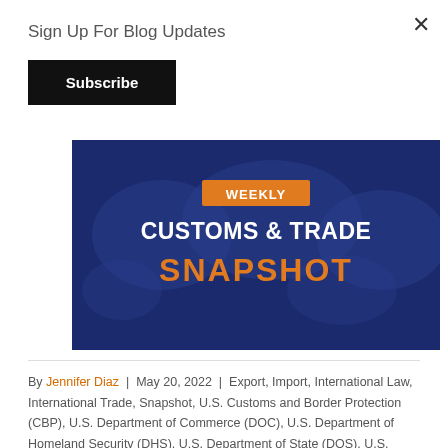Sign Up For Blog Updates
Subscribe
[Figure (illustration): Weekly Customs & Trade Snapshot banner with dark blue world map background, orange 'WEEKLY' badge, white bold text 'CUSTOMS & TRADE', and orange text 'SNAPSHOT']
By Jennifer Diaz | May 20, 2022 | Export, Import, International Law, International Trade, Snapshot, U.S. Customs and Border Protection (CBP), U.S. Department of Commerce (DOC), U.S. Department of Homeland Security (DHS), U.S. Department of State (DOS), U.S. International Trade Commission (USITC), U.S. Office of Foreign Assets Control (OFAC), U.S. Trade Representative (USTR), Deputy Assistant Off...